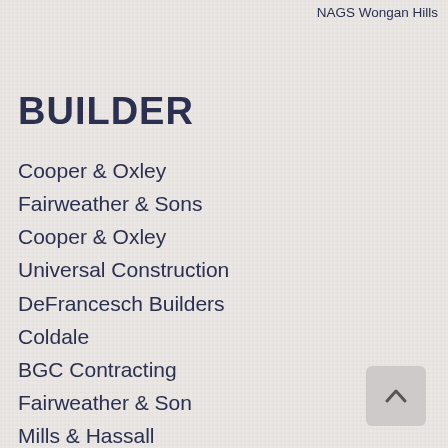NAGS Wongan Hills
BUILDER
Cooper & Oxley
Fairweather & Sons
Cooper & Oxley
Universal Construction
DeFrancesch Builders
Coldale
BGC Contracting
Fairweather & Son
Mills & Hassall
Fairweather & son
Fairweather & Son
Cooper & Oxley
Doric Construction
Cooper & Oxley